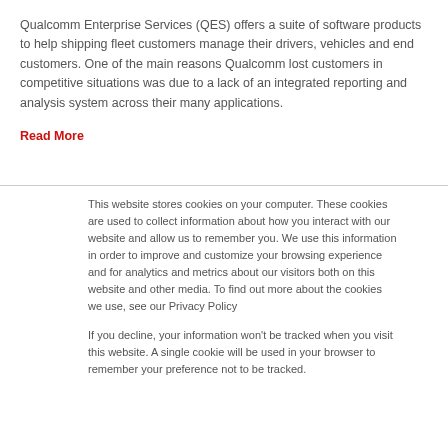Qualcomm Enterprise Services (QES) offers a suite of software products to help shipping fleet customers manage their drivers, vehicles and end customers. One of the main reasons Qualcomm lost customers in competitive situations was due to a lack of an integrated reporting and analysis system across their many applications.
Read More
This website stores cookies on your computer. These cookies are used to collect information about how you interact with our website and allow us to remember you. We use this information in order to improve and customize your browsing experience and for analytics and metrics about our visitors both on this website and other media. To find out more about the cookies we use, see our Privacy Policy
If you decline, your information won't be tracked when you visit this website. A single cookie will be used in your browser to remember your preference not to be tracked.